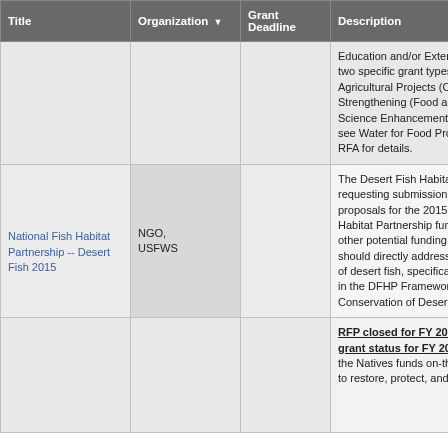| Title | Organization ▼ | Grant Deadline | Description |
| --- | --- | --- | --- |
|  |  |  | Education and/or Extension programs two specific grant types: Coordinated Agricultural Projects (CAP) and Strengthening (Food and Agriculture Science Enhancement) CAP grants see Water for Food Production RFA for details. |
| National Fish Habitat Partnership -- Desert Fish 2015 | NGO, USFWS |  | The Desert Fish Habitat Partnership requesting submission of project proposals for the 2015 National Habitat Partnership funding cycle other potential funding sources should directly address the habitat of desert fish, specifically those in the DFHP Framework for Stewardship Conservation of Desert Fish. |
|  |  |  | RFP closed for FY 2015; Unknown grant status for FY 2016. Bring the Natives funds on-the-ground to restore, protect, and enhance native species and their habitats. |